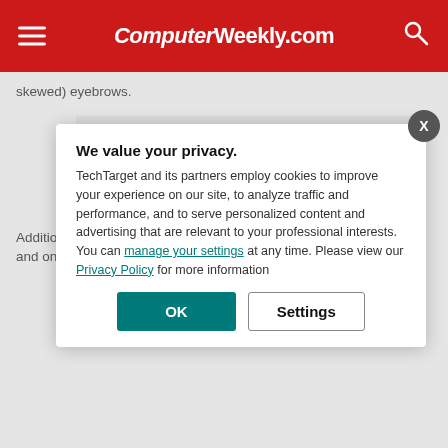ComputerWeekly.com
skewed) eyebrows.
TECHNICAL NOTE: Streamlit is a framework built to simplify and accelerate the creation of data applications. Streamlit promises t… Python fas… are able to… deployed a… only a han…
Additionally, Sno… data with new en… streaming data, … formats and on-p… (CAPS intended… to clarify its core…
We value your privacy.
TechTarget and its partners employ cookies to improve your experience on our site, to analyze traffic and performance, and to serve personalized content and advertising that are relevant to your professional interests. You can manage your settings at any time. Please view our Privacy Policy for more information